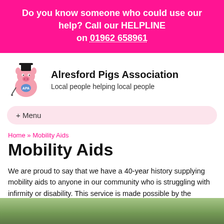Do you know someone who could use our help? Call our HELPLINE on 01962 658961
Alresford Pigs Association
Local people helping local people
+ Menu
Home » Mobility Aids
Mobility Aids
We are proud to say that we have a 40-year history supplying mobility aids to anyone in our community who is struggling with infirmity or disability. This service is made possible by the generosity of local people who've donated their 3- and 4-wheel walkers, Zimmer frames and mobility scooters to The Pigs, to help others who might be in similar situations.
[Figure (photo): Partial view of a photo strip at the bottom of the page, showing green outdoor scenery]